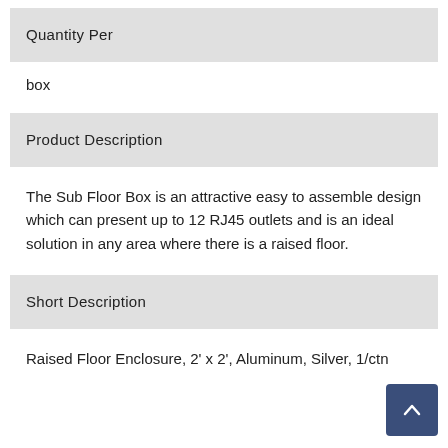Quantity Per
box
Product Description
The Sub Floor Box is an attractive easy to assemble design which can present up to 12 RJ45 outlets and is an ideal solution in any area where there is a raised floor.
Short Description
Raised Floor Enclosure, 2' x 2', Aluminum, Silver, 1/ctn